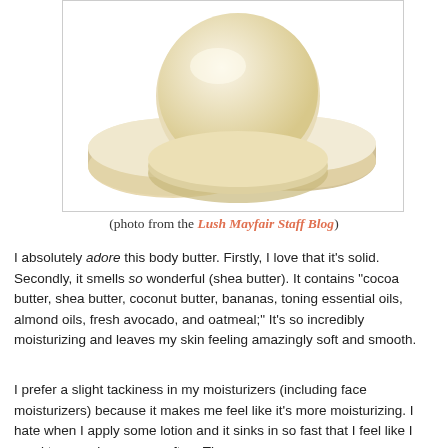[Figure (photo): Photo of cream-colored solid body butter bars/rounds stacked together on a white background]
(photo from the Lush Mayfair Staff Blog)
I absolutely adore this body butter. Firstly, I love that it's solid. Secondly, it smells so wonderful (shea butter). It contains "cocoa butter, shea butter, coconut butter, bananas, toning essential oils, almond oils, fresh avocado, and oatmeal;" It's so incredibly moisturizing and leaves my skin feeling amazingly soft and smooth.
I prefer a slight tackiness in my moisturizers (including face moisturizers) because it makes me feel like it's more moisturizing. I hate when I apply some lotion and it sinks in so fast that I feel like I need to reapply every so often. The